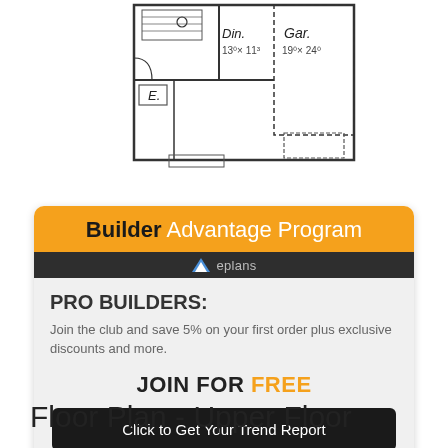[Figure (engineering-diagram): Partial floor plan showing Entry (E.), Dining room (Din. 13'x11'3"), Garage (Gar. 19'x24'), with architectural layout lines and room labels]
[Figure (infographic): Builder Advantage Program advertisement card with orange header, eplans logo, PRO BUILDERS text, discount offer, JOIN FOR FREE call to action, and Click to Get Your Trend Report button]
Floor Plan - Upper Floor